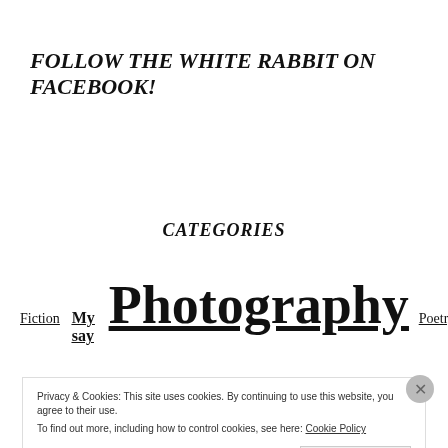FOLLOW THE WHITE RABBIT ON FACEBOOK!
CATEGORIES
Fiction  My say  Photography  Poetry
Privacy & Cookies: This site uses cookies. By continuing to use this website, you agree to their use.
To find out more, including how to control cookies, see here: Cookie Policy
Close and accept